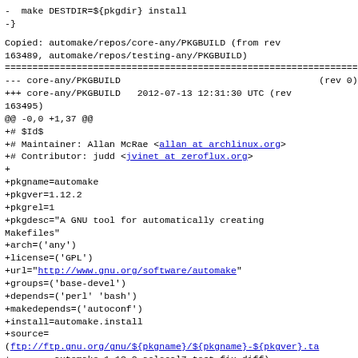-  make DESTDIR=${pkgdir} install
-}
Copied: automake/repos/core-any/PKGBUILD (from rev 163489, automake/repos/testing-any/PKGBUILD)
======================================================================
--- core-any/PKGBUILD                                    (rev 0)
+++ core-any/PKGBUILD   2012-07-13 12:31:30 UTC (rev 163495)
@@ -0,0 +1,37 @@
+# $Id$
+# Maintainer: Allan McRae <allan at archlinux.org>
+# Contributor: judd <jvinet at zeroflux.org>
+
+pkgname=automake
+pkgver=1.12.2
+pkgrel=1
+pkgdesc="A GNU tool for automatically creating Makefiles"
+arch=('any')
+license=('GPL')
+url="http://www.gnu.org/software/automake"
+groups=('base-devel')
+depends=('perl' 'bash')
+makedepends=('autoconf')
+install=automake.install
+source=
+(ftp://ftp.gnu.org/gnu/${pkgname}/${pkgname}-${pkgver}.ta
+        automake-1.12.2-aclocal7-test-fix.diff)
+md5sums=('56c3ab38a5ed8f2b825341b4e007372a'